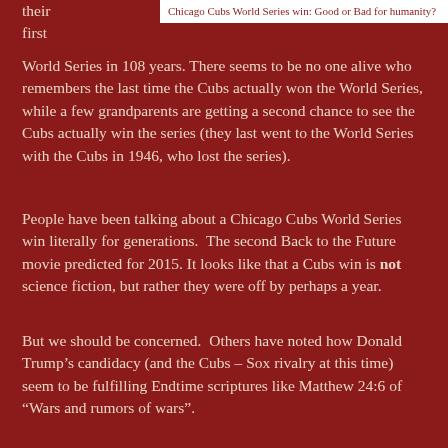[Figure (other): White box header with text: Chicago Cubs World Series win: Good or Bad for humanity?]
their first World Series in 108 years. There seems to be no one alive who remembers the last time the Cubs actually won the World Series, while a few grandparents are getting a second chance to see the Cubs actually win the series (they last went to the World Series with the Cubs in 1946, who lost the series).
People have been talking about a Chicago Cubs World Series win literally for generations.  The second Back to the Future movie predicted for 2015. It looks like that a Cubs win is not science fiction, but rather they were off by perhaps a year.
But we should be concerned.  Others have noted how Donald Trump's candidacy (and the Cubs – Sox rivalry at this time) seem to be fulfilling Endtime scriptures like Matthew 24:6 of “Wars and rumors of wars”.